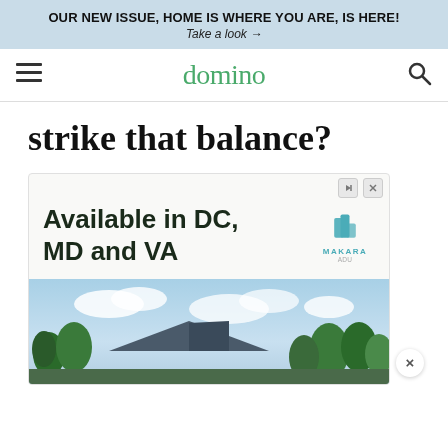OUR NEW ISSUE, HOME IS WHERE YOU ARE, IS HERE! Take a look →
domino
strike that balance?
[Figure (screenshot): Advertisement for Makara: 'Available in DC, MD and VA' with house/trees image and Makara logo]